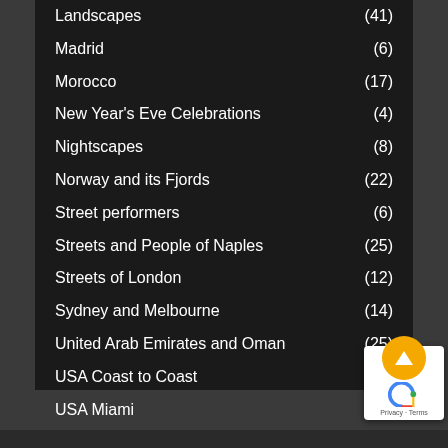Landscapes (41)
Madrid (6)
Morocco (17)
New Year's Eve Celebrations (4)
Nightscapes (8)
Norway and its Fjords (22)
Street performers (6)
Streets and People of Naples (25)
Streets of London (12)
Sydney and Melbourne (14)
United Arab Emirates and Oman (25)
USA Coast to Coast (20)
USA Miami (19)
[Figure (other): Back-to-top button with Google Maps privacy/terms badge]